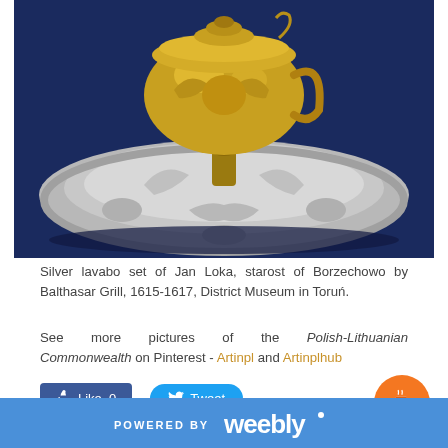[Figure (photo): Silver lavabo set — an ornate gilded cup sitting on a large embossed silver plate with floral and shell decorations, photographed against a dark blue background.]
Silver lavabo set of Jan Loka, starost of Borzechowo by Balthasar Grill, 1615-1617, District Museum in Toruń.
See more pictures of the Polish-Lithuanian Commonwealth on Pinterest - Artinpl and Artinplhub
[Figure (other): Like button (0 likes) and Tweet button]
[Figure (logo): Powered by Weebly footer logo on blue background]